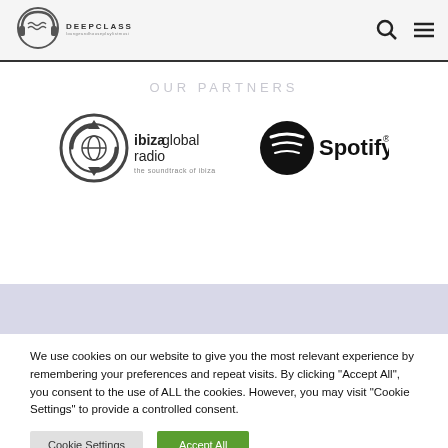[Figure (logo): DeepClass Radio logo with headphones icon]
OUR PARTNERS
[Figure (logo): Ibiza Global Radio logo - the soundtrack of ibiza]
[Figure (logo): Spotify logo with circular striped icon]
We use cookies on our website to give you the most relevant experience by remembering your preferences and repeat visits. By clicking “Accept All”, you consent to the use of ALL the cookies. However, you may visit "Cookie Settings" to provide a controlled consent.
Cookie Settings | Accept All